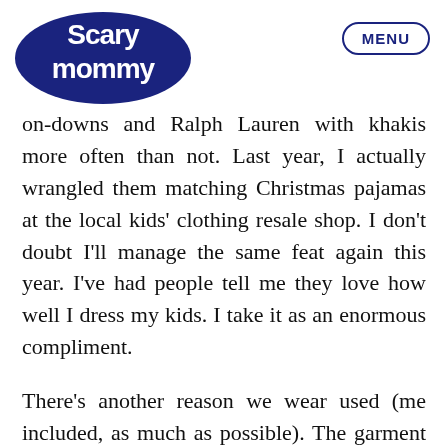Scary Mommy | MENU
on-downs and Ralph Lauren with khakis more often than not. Last year, I actually wrangled them matching Christmas pajamas at the local kids' clothing resale shop. I don't doubt I'll manage the same feat again this year. I've had people tell me they love how well I dress my kids. I take it as an enormous compliment.
There's another reason we wear used (me included, as much as possible). The garment industry is out of control. Many major brands use sweatshop labor, and I don't want to put my